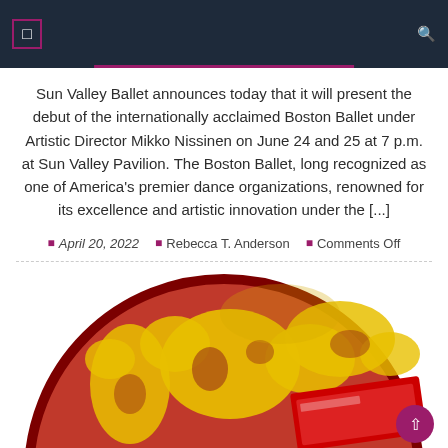Sun Valley Ballet announces today that it will present the debut of the internationally acclaimed Boston Ballet under Artistic Director Mikko Nissinen on June 24 and 25 at 7 p.m. at Sun Valley Pavilion. The Boston Ballet, long recognized as one of America’s premier dance organizations, renowned for its excellence and artistic innovation under the [...]
April 20, 2022  Rebecca T. Anderson  Comments Off
[Figure (illustration): Illustration of a globe showing world map in yellow and dark red/maroon colors, with a red sign/banner in the foreground at the bottom right.]